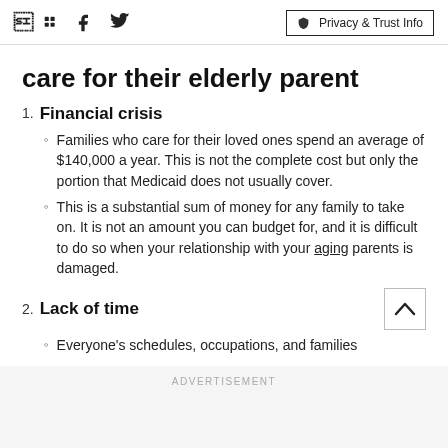care for their elderly parent
Financial crisis
Families who care for their loved ones spend an average of $140,000 a year. This is not the complete cost but only the portion that Medicaid does not usually cover.
This is a substantial sum of money for any family to take on. It is not an amount you can budget for, and it is difficult to do so when your relationship with your aging parents is damaged.
Lack of time
Everyone's schedules, occupations, and families
ADVERTISEMENT